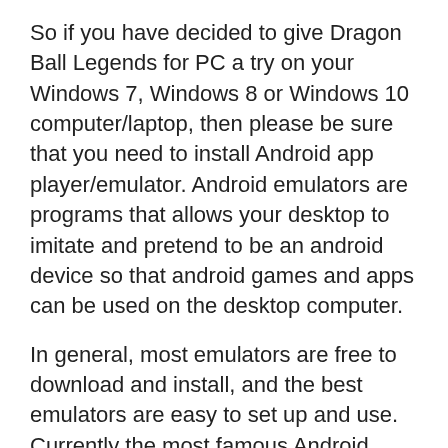So if you have decided to give Dragon Ball Legends for PC a try on your Windows 7, Windows 8 or Windows 10 computer/laptop, then please be sure that you need to install Android app player/emulator. Android emulators are programs that allows your desktop to imitate and pretend to be an android device so that android games and apps can be used on the desktop computer.
In general, most emulators are free to download and install, and the best emulators are easy to set up and use. Currently the most famous Android emulator for Windows include:
Bluestacks
NoxAppPlayer
Select any emulator that you deem fit on your PC.